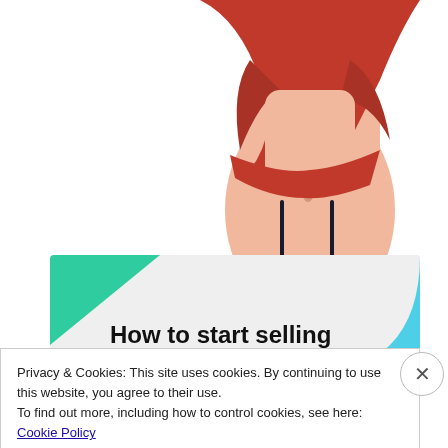[Figure (illustration): Partial anime-style illustration of a female character in red top and tan/khaki clothing, torso visible with garter belt straps, cut off at top.]
[Figure (infographic): Advertisement banner with green triangle in top-left corner and blue curved shape in top-right corner on light gray background. Bold text reads 'How to start selling subscriptions online'.]
Privacy & Cookies: This site uses cookies. By continuing to use this website, you agree to their use.
To find out more, including how to control cookies, see here: Cookie Policy
Close and accept